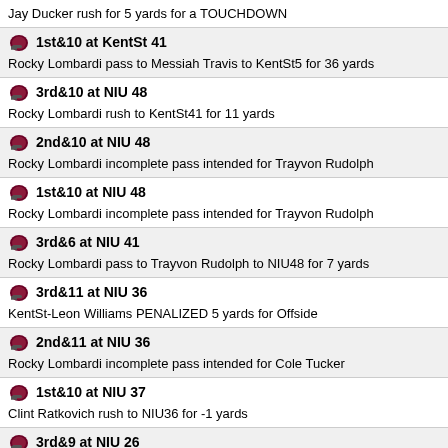Jay Ducker rush for 5 yards for a TOUCHDOWN
1st&10 at KentSt 41 — Rocky Lombardi pass to Messiah Travis to KentSt5 for 36 yards
3rd&10 at NIU 48 — Rocky Lombardi rush to KentSt41 for 11 yards
2nd&10 at NIU 48 — Rocky Lombardi incomplete pass intended for Trayvon Rudolph
1st&10 at NIU 48 — Rocky Lombardi incomplete pass intended for Trayvon Rudolph
3rd&6 at NIU 41 — Rocky Lombardi pass to Trayvon Rudolph to NIU48 for 7 yards
3rd&11 at NIU 36 — KentSt-Leon Williams PENALIZED 5 yards for Offside
2nd&11 at NIU 36 — Rocky Lombardi incomplete pass intended for Cole Tucker
1st&10 at NIU 37 — Clint Ratkovich rush to NIU36 for -1 yards
3rd&9 at NIU 26 — Rocky Lombardi pass to Trayvon Rudolph to NIU37 for 11 yards
2nd&9 at NIU 26